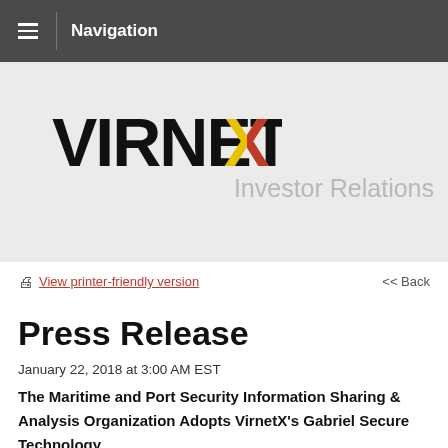Navigation
[Figure (logo): VirnetX logo with stylized black and yellow/red X lettering]
Investor Relations
View printer-friendly version
<< Back
Press Release
January 22, 2018 at 3:00 AM EST
The Maritime and Port Security Information Sharing & Analysis Organization Adopts VirnetX's Gabriel Secure Technology